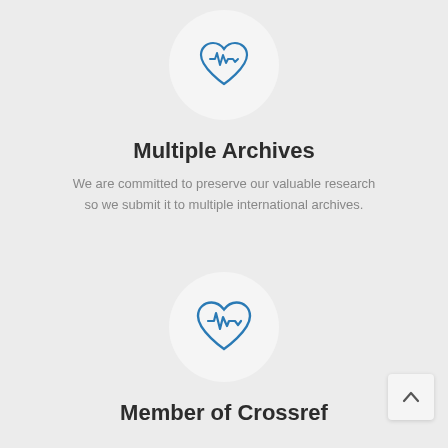[Figure (illustration): Heart with EKG/pulse line icon inside a light gray circle, blue outline style]
Multiple Archives
We are committed to preserve our valuable research so we submit it to multiple international archives.
[Figure (illustration): Heart with EKG/pulse line icon inside a light gray circle, blue outline style]
Member of Crossref